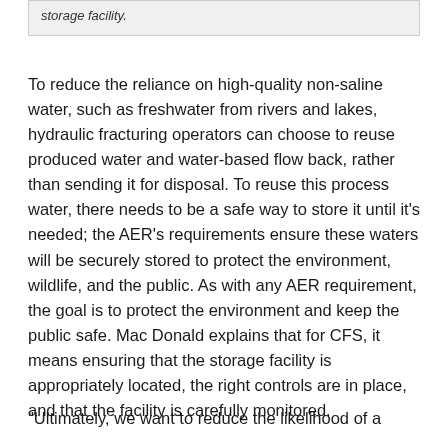storage facility.
To reduce the reliance on high-quality non-saline water, such as freshwater from rivers and lakes, hydraulic fracturing operators can choose to reuse produced water and water-based flow back, rather than sending it for disposal. To reuse this process water, there needs to be a safe way to store it until it’s needed; the AER’s requirements ensure these waters will be securely stored to protect the environment, wildlife, and the public. As with any AER requirement, the goal is to protect the environment and keep the public safe. Mac Donald explains that for CFS, it means ensuring that the storage facility is appropriately located, the right controls are in place, and that the facility is carefully monitored.
“Ultimately, we want to reduce the likelihood of a